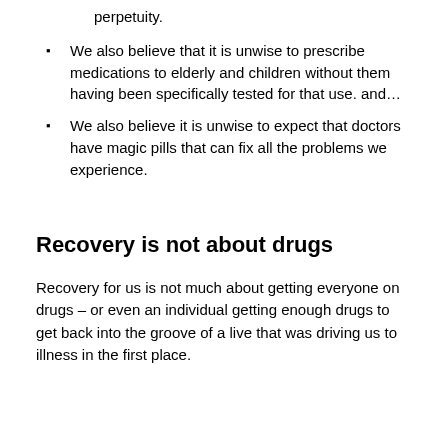perpetuity.
We also believe that it is unwise to prescribe medications to elderly and children without them having been specifically tested for that use. and…
We also believe it is unwise to expect that doctors have magic pills that can fix all the problems we experience.
Recovery is not about drugs
Recovery for us is not much about getting everyone on drugs – or even an individual getting enough drugs to get back into the groove of a live that was driving us to illness in the first place.